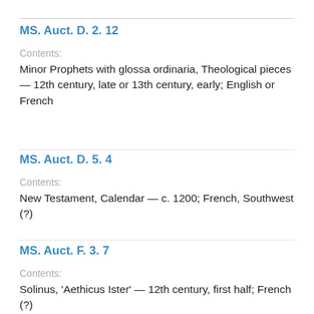MS. Auct. D. 2. 12
Contents:
Minor Prophets with glossa ordinaria, Theological pieces — 12th century, late or 13th century, early; English or French
MS. Auct. D. 5. 4
Contents:
New Testament, Calendar — c. 1200; French, Southwest (?)
MS. Auct. F. 3. 7
Contents:
Solinus, 'Aethicus Ister' — 12th century, first half; French (?)